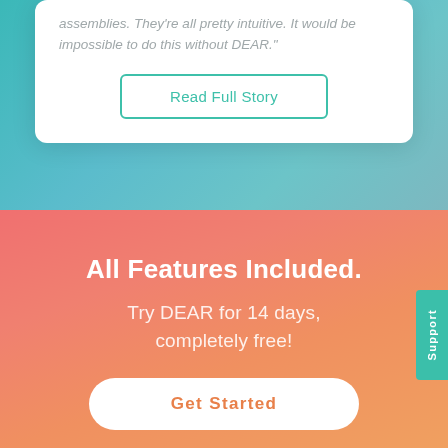assemblies. They're all pretty intuitive. It would be impossible to do this without DEAR."
Read Full Story
All Features Included.
Try DEAR for 14 days, completely free!
Get Started